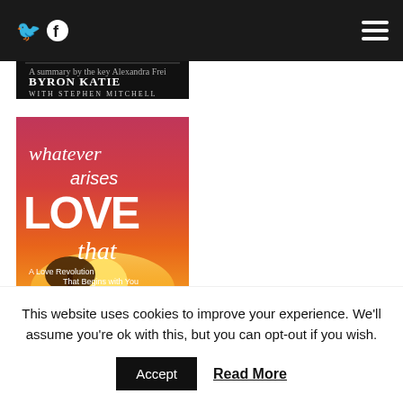[Figure (screenshot): Website screenshot showing a dark navigation bar with Twitter and Facebook icons on the left and a hamburger menu on the right. Below the nav bar is a book cover for 'Loving What Is' by Byron Katie with Stephen Mitchell. A second book cover shows 'Whatever Arises Love That: A Love Revolution That Begins with You' with a gradient pink/orange/red background and a silhouette of a tree at sunset.]
This website uses cookies to improve your experience. We'll assume you're ok with this, but you can opt-out if you wish.
Accept
Read More